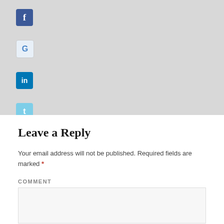[Figure (illustration): Social media icons displayed vertically: Facebook (blue square with 'f'), Google+ (light blue square with 'G'), LinkedIn (blue square with 'in'), Twitter (light blue square with bird 't')]
Leave a Reply
Your email address will not be published. Required fields are marked *
COMMENT